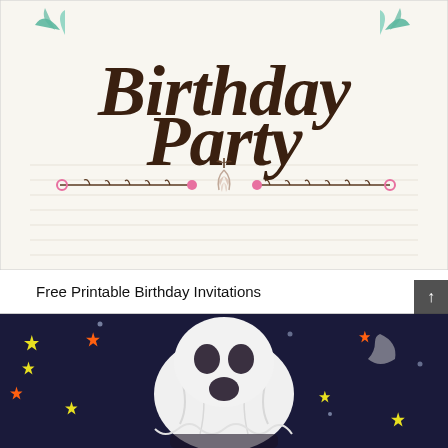[Figure (illustration): Birthday Party invitation card with decorative calligraphy text 'Birthday Party' in dark brown cursive script, with colorful floral and branch decorations including teal leaves at top corners, pink circles on branches, and a central botanical motif. Card has horizontal ruled lines in the lower portion on white/cream background.]
Free Printable Birthday Invitations
[Figure (photo): A ghost-shaped white pumpkin or craft item with dark oval eyes and oval mouth, set against a dark background with colorful stars (yellow, orange) and moon shapes, creating a Halloween scene.]